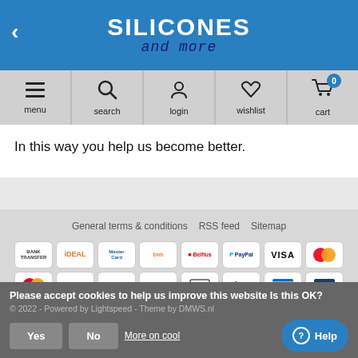SILICONES and more
[Figure (infographic): Navigation bar with menu, search, login, wishlist, and cart icons]
In this way you help us become better.
[Figure (infographic): Footer with links: General terms & conditions, RSS feed, Sitemap, and payment method logos including Bank Transfer, iDEAL, Mastercard, KBC, Giro Pay, OPS, CB, Klarna, American Express, and others]
Please accept cookies to help us improve this website Is this OK?
© 2022 - Powered by Lightspeed - Theme by DMWS.nl
Yes
No
More on cool